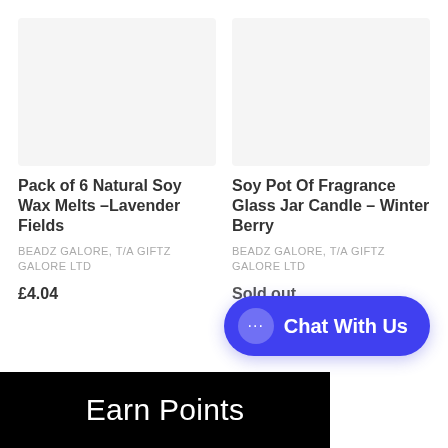[Figure (photo): Product image placeholder for Pack of 6 Natural Soy Wax Melts - Lavender Fields]
Pack of 6 Natural Soy Wax Melts –Lavender Fields
BEADZ GALORE, T/A GIFTZ GALORE LTD
£4.04
[Figure (photo): Product image placeholder for Soy Pot Of Fragrance Glass Jar Candle – Winter Berry]
Soy Pot Of Fragrance Glass Jar Candle – Winter Berry
BEADZ GALORE, T/A GIFTZ GALORE LTD
Sold out
Chat With Us
Earn Points